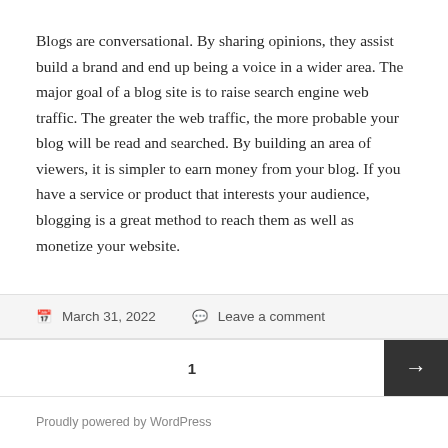Blogs are conversational. By sharing opinions, they assist build a brand and end up being a voice in a wider area. The major goal of a blog site is to raise search engine web traffic. The greater the web traffic, the more probable your blog will be read and searched. By building an area of viewers, it is simpler to earn money from your blog. If you have a service or product that interests your audience, blogging is a great method to reach them as well as monetize your website.
March 31, 2022  Leave a comment
1
Proudly powered by WordPress